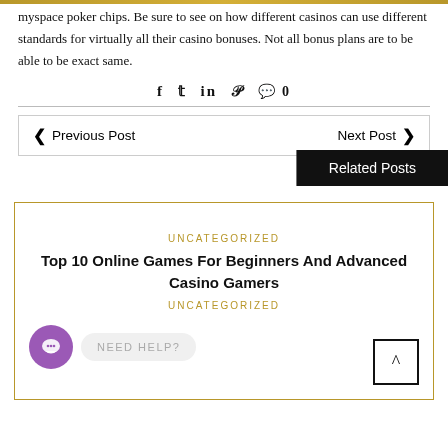myspace poker chips. Be sure to see on how different casinos can use different standards for virtually all their casino bonuses. Not all bonus plans are to be able to be exact same.
f  𝕥  in  𝒫  💬 0
Previous Post   Next Post
Related Posts
UNCATEGORIZED
Top 10 Online Games For Beginners And Advanced Casino Gamers
NEED HELP?
UNCATEGORIZED